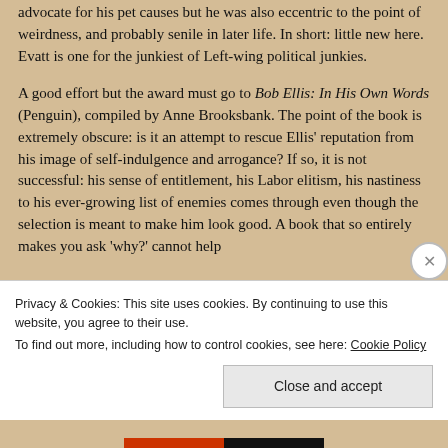advocate for his pet causes but he was also eccentric to the point of weirdness, and probably senile in later life. In short: little new here. Evatt is one for the junkiest of Left-wing political junkies.
A good effort but the award must go to Bob Ellis: In His Own Words (Penguin), compiled by Anne Brooksbank. The point of the book is extremely obscure: is it an attempt to rescue Ellis' reputation from his image of self-indulgence and arrogance? If so, it is not successful: his sense of entitlement, his Labor elitism, his nastiness to his ever-growing list of enemies comes through even though the selection is meant to make him look good. A book that so entirely makes you ask 'why?' cannot help
Privacy & Cookies: This site uses cookies. By continuing to use this website, you agree to their use.
To find out more, including how to control cookies, see here: Cookie Policy